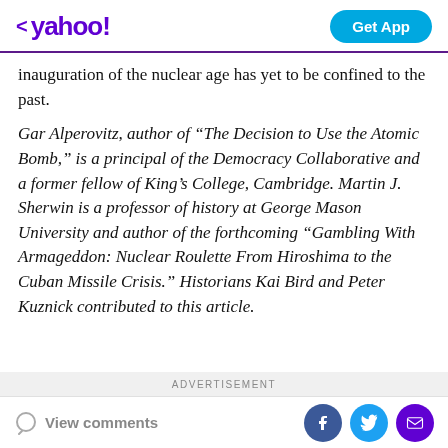< yahoo!  Get App
inauguration of the nuclear age has yet to be confined to the past.
Gar Alperovitz, author of “The Decision to Use the Atomic Bomb,” is a principal of the Democracy Collaborative and a former fellow of King’s College, Cambridge. Martin J. Sherwin is a professor of history at George Mason University and author of the forthcoming “Gambling With Armageddon: Nuclear Roulette From Hiroshima to the Cuban Missile Crisis.” Historians Kai Bird and Peter Kuznick contributed to this article.
ADVERTISEMENT
View comments